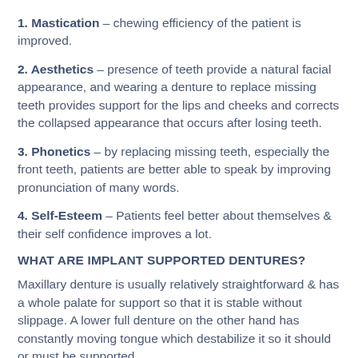1. Mastication – chewing efficiency of the patient is improved.
2. Aesthetics – presence of teeth provide a natural facial appearance, and wearing a denture to replace missing teeth provides support for the lips and cheeks and corrects the collapsed appearance that occurs after losing teeth.
3. Phonetics – by replacing missing teeth, especially the front teeth, patients are better able to speak by improving pronunciation of many words.
4. Self-Esteem – Patients feel better about themselves & their self confidence improves a lot.
WHAT ARE IMPLANT SUPPORTED DENTURES?
Maxillary denture is usually relatively straightforward & has a whole palate for support so that it is stable without slippage. A lower full denture on the other hand has constantly moving tongue which destabilize it so it should or must be supported